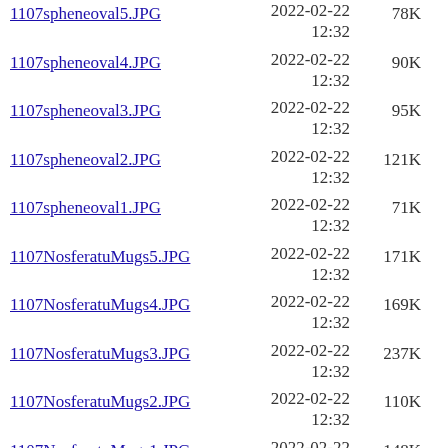1107spheneoval5.JPG  2022-02-22 12:32  78K
1107spheneoval4.JPG  2022-02-22 12:32  90K
1107spheneoval3.JPG  2022-02-22 12:32  95K
1107spheneoval2.JPG  2022-02-22 12:32  121K
1107spheneoval1.JPG  2022-02-22 12:32  71K
1107NosferatuMugs5.JPG  2022-02-22 12:32  171K
1107NosferatuMugs4.JPG  2022-02-22 12:32  169K
1107NosferatuMugs3.JPG  2022-02-22 12:32  237K
1107NosferatuMugs2.JPG  2022-02-22 12:32  110K
1107NosferatuMugs1.JPG  2022-02-22 12:32  148K
1104RedKMT23.jpg  2022-02-18 07:16  369K
1104RedKMT22.jpg  2022-02-18 07:16  372K